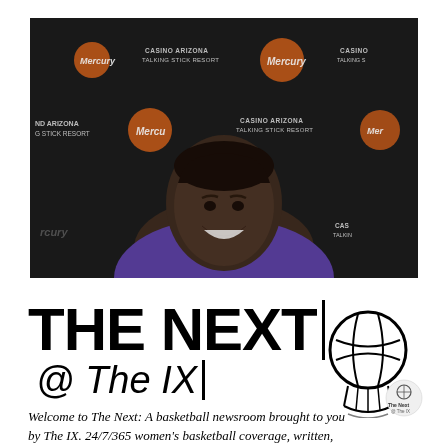[Figure (photo): A smiling person wearing a purple shirt seated in front of a Phoenix Mercury basketball team branded backdrop with Casino Arizona Talking Stick Resort sponsor logos]
THE NEXT| @ The IX|
[Figure (logo): Basketball hoop and ball sketch logo for The Next @ The IX, with a small circular logo in the bottom right corner]
Welcome to The Next: A basketball newsroom brought to you by The IX. 24/7/365 women's basketball coverage, written,